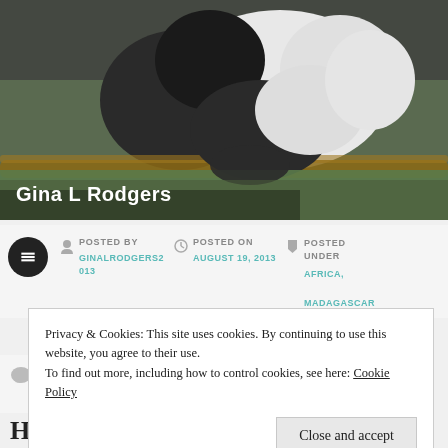[Figure (photo): A giant panda resting on a wooden fence/log, black and white fur visible, green foliage in background]
Gina L Rodgers
POSTED BY
GINALRODGERS2013
POSTED ON
AUGUST 19, 2013
POSTED UNDER
AFRICA,
MADAGASCAR
COMMENTS
LEAVE A
COMMENT
Privacy & Cookies: This site uses cookies. By continuing to use this website, you agree to their use.
To find out more, including how to control cookies, see here: Cookie Policy
Close and accept
HIGH REWARDS IN